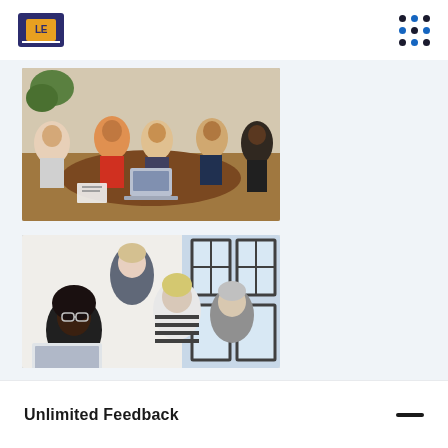LE logo and navigation dots
[Figure (photo): Group of people sitting around a table in a meeting or workshop, with a laptop visible, diverse group including someone in a red top]
[Figure (photo): Three people gathered around a laptop screen, looking at it together — two women and one man in a collaborative setting near large windows]
Unlimited Feedback